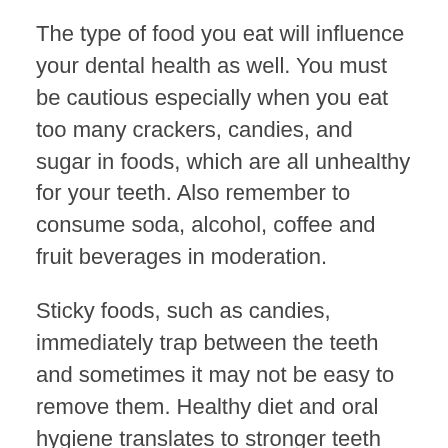The type of food you eat will influence your dental health as well. You must be cautious especially when you eat too many crackers, candies, and sugar in foods, which are all unhealthy for your teeth. Also remember to consume soda, alcohol, coffee and fruit beverages in moderation.
Sticky foods, such as candies, immediately trap between the teeth and sometimes it may not be easy to remove them. Healthy diet and oral hygiene translates to stronger teeth that defend themselves from most dental emergencies.
Vitamins for Stronger Dental Health